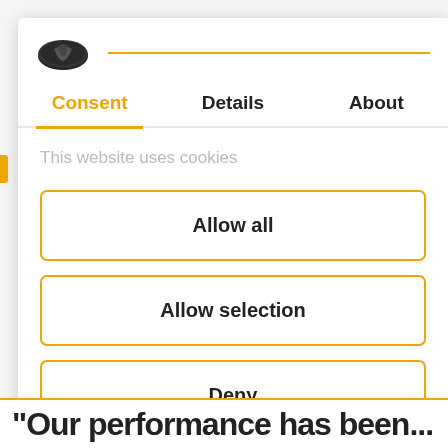[Figure (logo): Cookie/Cookiebot logo - dark oval with leaf/cookie icon]
Consent
Details
About
This website uses cookies
Allow all
Allow selection
Deny
Powered by Cookiebot by Usercentrics
"Our performance has been...